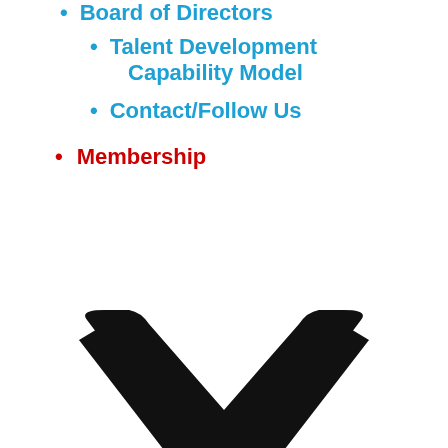Board of Directors
Talent Development Capability Model
Contact/Follow Us
Membership
[Figure (illustration): Large bold black chevron/down-arrow icon pointing downward]